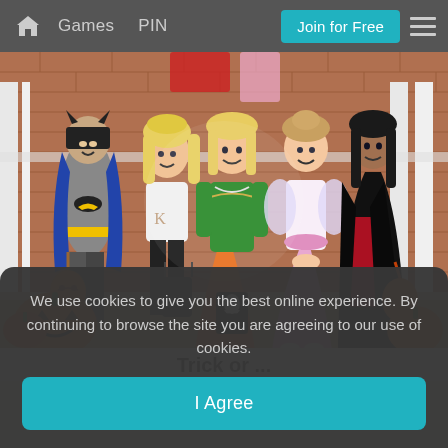Games  PIN  Join for Free  ☰
[Figure (photo): Five children in Halloween costumes standing on a porch with pumpkins. From left: boy in Batman costume, girl in white top with black pants, girl in green and orange witch/fairy costume, girl in pink fairy/ballet costume, girl in black and red costume. Jack-o-lanterns and orange pumpkins visible at the bottom.]
Trick or ...
We use cookies to give you the best online experience. By continuing to browse the site you are agreeing to our use of cookies.
I Agree